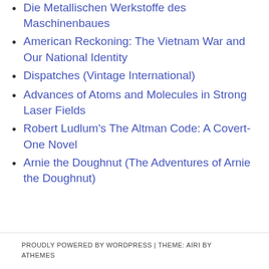Die Metallischen Werkstoffe des Maschinenbaues
American Reckoning: The Vietnam War and Our National Identity
Dispatches (Vintage International)
Advances of Atoms and Molecules in Strong Laser Fields
Robert Ludlum's The Altman Code: A Covert-One Novel
Arnie the Doughnut (The Adventures of Arnie the Doughnut)
PROUDLY POWERED BY WORDPRESS | THEME: AIRI BY ATHEMES